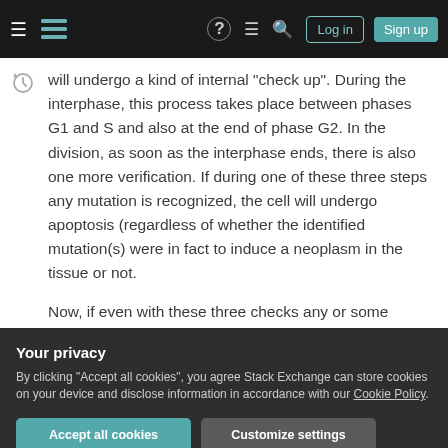Navigation bar with hamburger menu, Stack Exchange logo, help icon, chat icon, search icon, Log in button, Sign up button
will undergo a kind of internal "check up". During the interphase, this process takes place between phases G1 and S and also at the end of phase G2. In the division, as soon as the interphase ends, there is also one more verification. If during one of these three steps any mutation is recognized, the cell will undergo apoptosis (regardless of whether the identified mutation(s) were in fact to induce a neoplasm in the tissue or not.
Now, if even with these three checks any or some
Your privacy
By clicking "Accept all cookies", you agree Stack Exchange can store cookies on your device and disclose information in accordance with our Cookie Policy.
This question is information I wanted to give